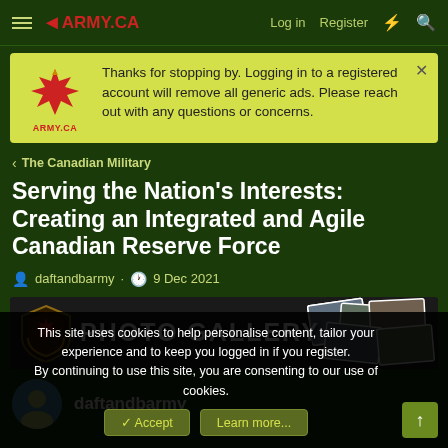ARMY.CA — Log in | Register
Thanks for stopping by. Logging in to a registered account will remove all generic ads. Please reach out with any questions or concerns.
< The Canadian Military
Serving the Nation's Interests: Creating an Integrated and Agile Canadian Reserve Force
daftandbarmy · 9 Dec 2021
[Figure (screenshot): Photo Gallery banner with army shield logo and stacked photos]
daftandbarmv
This site uses cookies to help personalise content, tailor your experience and to keep you logged in if you register. By continuing to use this site, you are consenting to our use of cookies.
✓ Accept   Learn more...